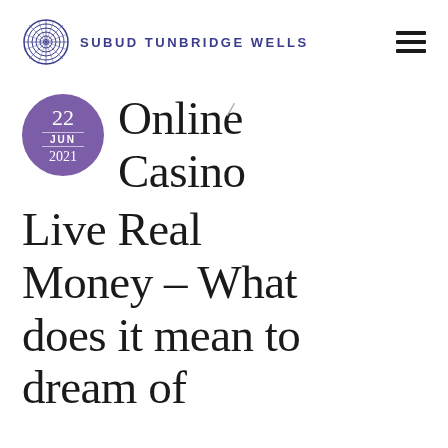SUBUD TUNBRIDGE WELLS
Online Casino Live Real Money – What does it mean to dream of